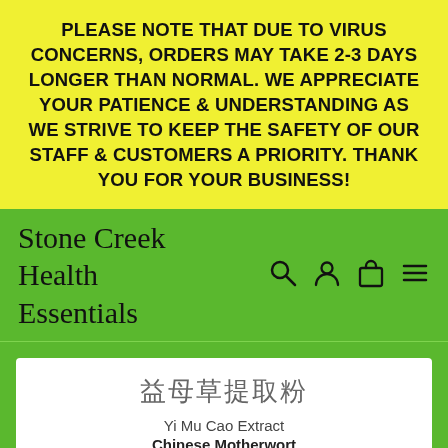PLEASE NOTE THAT DUE TO VIRUS CONCERNS, ORDERS MAY TAKE 2-3 DAYS LONGER THAN NORMAL. WE APPRECIATE YOUR PATIENCE & UNDERSTANDING AS WE STRIVE TO KEEP THE SAFETY OF OUR STAFF & CUSTOMERS A PRIORITY. THANK YOU FOR YOUR BUSINESS!
Stone Creek Health Essentials
[Figure (other): Navigation icons: search (magnifying glass), user/account (person silhouette), cart (shopping bag), and menu (hamburger lines)]
益母草提取粉
Yi Mu Cao Extract
Chinese Motherwort
(Aboveground Parts) Extract
5:1